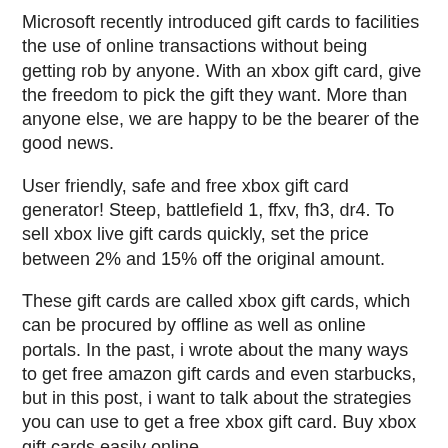Microsoft recently introduced gift cards to facilities the use of online transactions without being getting rob by anyone. With an xbox gift card, give the freedom to pick the gift they want. More than anyone else, we are happy to be the bearer of the good news.
User friendly, safe and free xbox gift card generator! Steep, battlefield 1, ffxv, fh3, dr4. To sell xbox live gift cards quickly, set the price between 2% and 15% off the original amount.
These gift cards are called xbox gift cards, which can be procured by offline as well as online portals. In the past, i wrote about the many ways to get free amazon gift cards and even starbucks, but in this post, i want to talk about the strategies you can use to get a free xbox gift card. Buy xbox gift cards easily online.
With an xbox gift card, give the freedom to pick the gift they want. It can be used to buy the hottest new xbox full game downloads, apps, movies, tv shows, devices, and more. Get an xbox gift card online, easily, and in seconds.